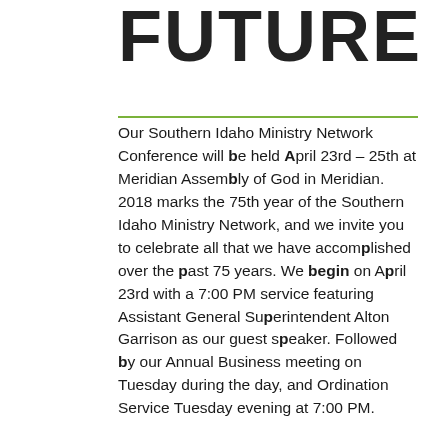FUTURE
Our Southern Idaho Ministry Network Conference will be held April 23rd – 25th at Meridian Assembly of God in Meridian. 2018 marks the 75th year of the Southern Idaho Ministry Network, and we invite you to celebrate all that we have accomplished over the past 75 years. We begin on April 23rd with a 7:00 PM service featuring Assistant General Superintendent Alton Garrison as our guest speaker. Followed by our Annual Business meeting on Tuesday during the day, and Ordination Service Tuesday evening at 7:00 PM.